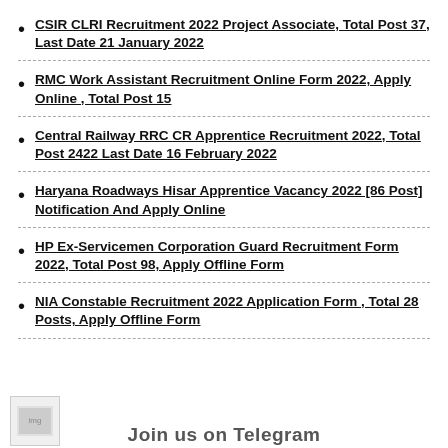CSIR CLRI Recruitment 2022 Project Associate, Total Post 37, Last Date 21 January 2022
RMC Work Assistant Recruitment Online Form 2022, Apply Online , Total Post 15
Central Railway RRC CR Apprentice Recruitment 2022, Total Post 2422 Last Date 16 February 2022
Haryana Roadways Hisar Apprentice Vacancy 2022 [86 Post] Notification And Apply Online
HP Ex-Servicemen Corporation Guard Recruitment Form 2022, Total Post 98, Apply Offline Form
NIA Constable Recruitment 2022 Application Form , Total 28 Posts, Apply Offline Form
[Figure (photo): Small image thumbnail in bottom left corner]
Join us on Telegram